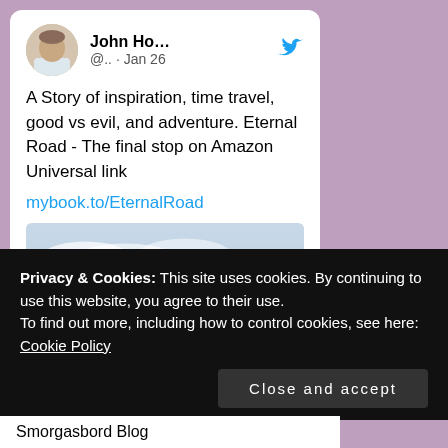[Figure (screenshot): Tweet card showing user John Ho... with Twitter bird icon, handle @.. · Jan 26, tweet text about Eternal Road book with link mybook.to/EternalRoad, and a book promotional image below]
Privacy & Cookies: This site uses cookies. By continuing to use this website, you agree to their use.
To find out more, including how to control cookies, see here:
Cookie Policy
Close and accept
Smorgasbord Blog